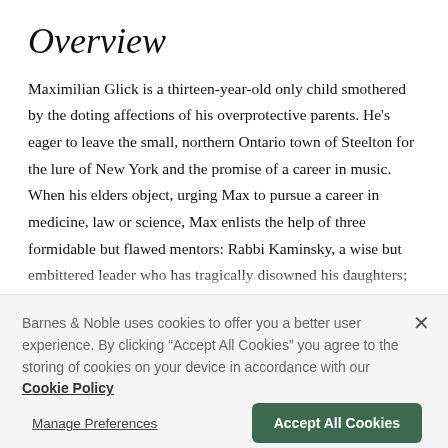Overview
Maximilian Glick is a thirteen-year-old only child smothered by the doting affections of his overprotective parents. He's eager to leave the small, northern Ontario town of Steelton for the lure of New York and the promise of a career in music. When his elders object, urging Max to pursue a career in medicine, law or science, Max enlists the help of three formidable but flawed mentors: Rabbi Kaminsky, a wise but embittered leader who has tragically disowned his daughters; Rabbi Teitelman, a fiery holy man with a secret desire to be a stand-up comic; and Derek
Barnes & Noble uses cookies to offer you a better user experience. By clicking "Accept All Cookies" you agree to the storing of cookies on your device in accordance with our Cookie Policy
Manage Preferences
Accept All Cookies